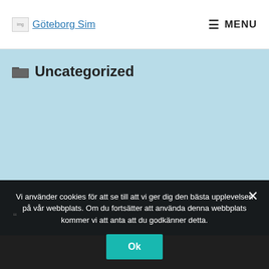Göteborg Sim — MENU
Uncategorized
Vi använder cookies för att se till att vi ger dig den bästa upplevelsen på vår webbplats. Om du fortsätter att använda denna webbplats kommer vi att anta att du godkänner detta.
Ok